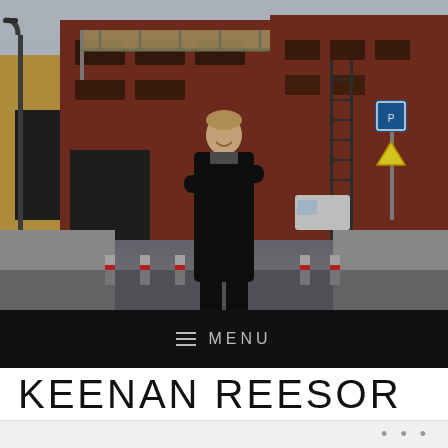[Figure (photo): A person standing with arms crossed on an urban street flanked by red brick buildings, with an overhead bridge connecting the buildings in the background.]
≡  MENU
KEENAN REESOR
[Figure (photo): Partial bottom strip with three dots navigation indicator]